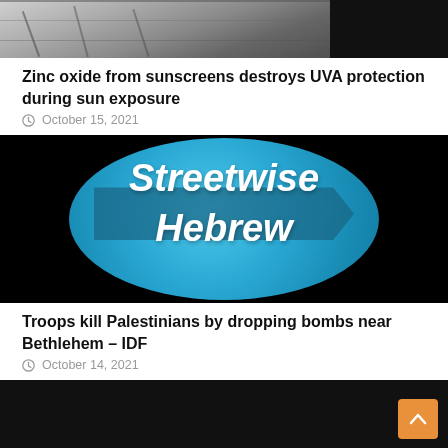[Figure (photo): Partial image of zinc oxide or metal material, cut off at top, showing gray/silver textured surface with black area on right]
Zinc oxide from sunscreens destroys UVA protection during sun exposure
October 15, 2021
[Figure (logo): Streetwise Hebrew logo - white italic text on blue circle with directional arrow signs, black background on sides]
Troops kill Palestinians by dropping bombs near Bethlehem – IDF
October 14, 2021
[Figure (photo): Mostly black image, content cut off at bottom of page]
[Figure (other): Orange scroll-to-top button with upward chevron arrow in bottom right corner]